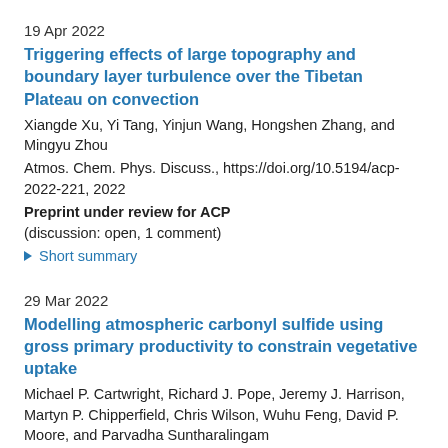19 Apr 2022
Triggering effects of large topography and boundary layer turbulence over the Tibetan Plateau on convection
Xiangde Xu, Yi Tang, Yinjun Wang, Hongshen Zhang, and Mingyu Zhou
Atmos. Chem. Phys. Discuss., https://doi.org/10.5194/acp-2022-221, 2022
Preprint under review for ACP
(discussion: open, 1 comment)
▶ Short summary
29 Mar 2022
Modelling atmospheric carbonyl sulfide using gross primary productivity to constrain vegetative uptake
Michael P. Cartwright, Richard J. Pope, Jeremy J. Harrison, Martyn P. Chipperfield, Chris Wilson, Wuhu Feng, David P. Moore, and Parvadha Suntharalingam
Atmos. Chem. Phys. Discuss., https://doi.org/10.5194/acp-2022-215, 2022